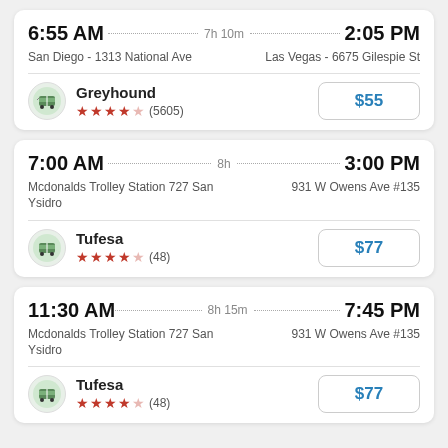6:55 AM --- 7h 10m --- 2:05 PM | San Diego - 1313 National Ave | Las Vegas - 6675 Gilespie St | Greyhound | ★★★★☆ (5605) | $55
7:00 AM --- 8h --- 3:00 PM | Mcdonalds Trolley Station 727 San Ysidro | 931 W Owens Ave #135 | Tufesa | ★★★★☆ (48) | $77
11:30 AM --- 8h 15m --- 7:45 PM | Mcdonalds Trolley Station 727 San Ysidro | 931 W Owens Ave #135 | Tufesa | ★★★★☆ (48) | $77